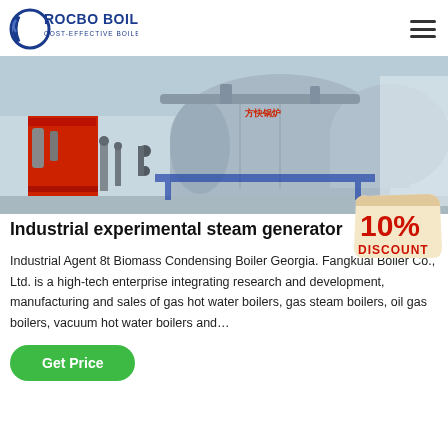ROCBO BOILER - COST-EFFECTIVE BOILER SUPPLIER
[Figure (photo): Industrial steam generator / boiler equipment in a factory setting. Large cylindrical silver-gray boilers with red and grey mechanical components, piping, and Chinese branding visible.]
Industrial experimental steam generator
[Figure (infographic): 10% DISCOUNT badge/sticker in red and beige colors]
Industrial Agent 8t Biomass Condensing Boiler Georgia. Fangkuai Boiler Co., Ltd. is a high-tech enterprise integrating research and development, manufacturing and sales of gas hot water boilers, gas steam boilers, oil gas boilers, vacuum hot water boilers and...
Get Price